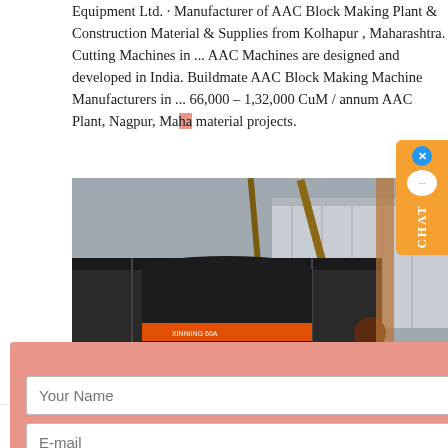Equipment Ltd. · Manufacturer of AAC Block Making Plant & Construction Material & Supplies from Kolhapur, Maharashtra. Cutting Machines in ... AAC Machines are designed and developed in India. Buildmate AAC Block Making Machine Manufacturers in ... 66,000 – 1,32,000 CuM / annum AAC Plant, Nagpur, Maharashtra material projects.
[Figure (photo): Industrial photo showing large machinery being loaded or installed, with a person in a red shirt standing in front of a large dark cylindrical tank/container, with construction cranes and a warehouse building in the background.]
[Figure (screenshot): Chat widget on right side showing orange background with blue X button, chat bubble icon, and vertical CHAT text.]
X
Your Name
E-mail
-----please select product-- ∨
capacity
Submit
Browse Archived Articles by Jenny Wu